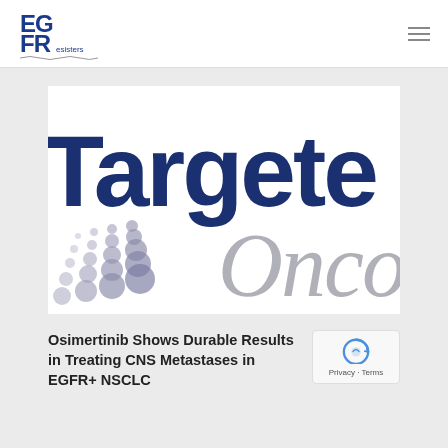[Figure (logo): EGFResisters logo with stylized EG/FR letters and DNA strand decoration]
[Figure (screenshot): Targeted Oncology publication logo — large dark blue sans-serif 'Targete' text and italic grey 'Oncolo' text with decorative dot pattern on white background (cropped/partial)]
Osimertinib Shows Durable Results in Treating CNS Metastases in EGFR+ NSCLC